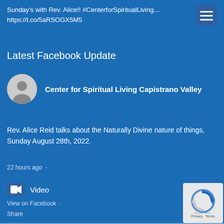Sunday's with Rev. Alice!! #CenterforSpiritualLiving… https://t.co/5aRSOGX5M5
Latest Facebook Update
Center for Spiritual Living Capistrano Valley
Rev. Alice Reid talks about the Naturally Divine nature of things, Sunday August 28th, 2022.
22 hours ago ·
Video
View on Facebook ·
Share